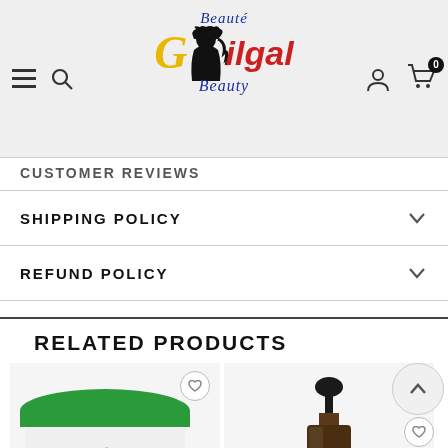[Figure (logo): Beauté Gilgal Beauty logo with gold G, red ILGAL text, silhouette of woman with curly hair, and blue italic script text]
CUSTOMER REVIEWS
SHIPPING POLICY
REFUND POLICY
RELATED PRODUCTS
[Figure (photo): Green-lidded cream jar product (Softee brand) with heart/wishlist icon and QUICK VIEW label]
[Figure (photo): Dark glass dropper bottle product with heart/wishlist icon and QUICK VIEW label]